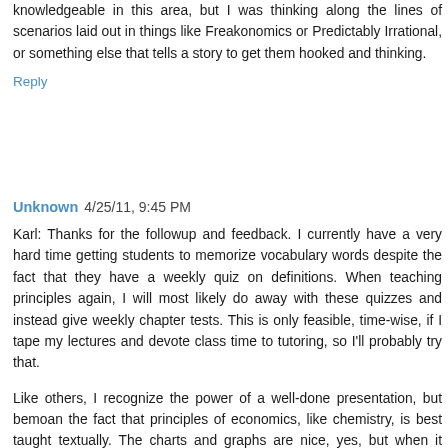knowledgeable in this area, but I was thinking along the lines of scenarios laid out in things like Freakonomics or Predictably Irrational, or something else that tells a story to get them hooked and thinking.
Reply
Unknown  4/25/11, 9:45 PM
Karl: Thanks for the followup and feedback. I currently have a very hard time getting students to memorize vocabulary words despite the fact that they have a weekly quiz on definitions. When teaching principles again, I will most likely do away with these quizzes and instead give weekly chapter tests. This is only feasible, time-wise, if I tape my lectures and devote class time to tutoring, so I'll probably try that.
Like others, I recognize the power of a well-done presentation, but bemoan the fact that principles of economics, like chemistry, is best taught textually. The charts and graphs are nice, yes, but when it comes down to it, students need exposure to the definitions and core